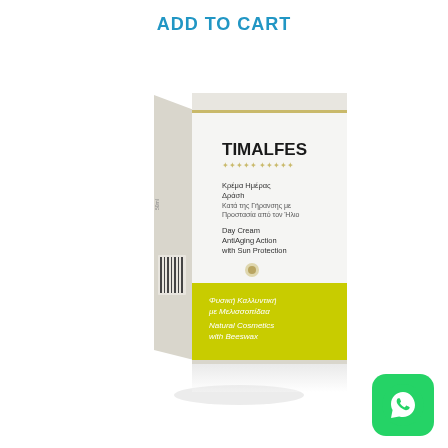ADD TO CART
[Figure (photo): TIMALFES cosmetic product box - Day Cream with AntiAging Action with Sun Protection, Natural Cosmetics with Beeswax. White box with yellow-green label band at bottom. Greek and English text on the box.]
[Figure (logo): WhatsApp green logo icon in bottom right corner]